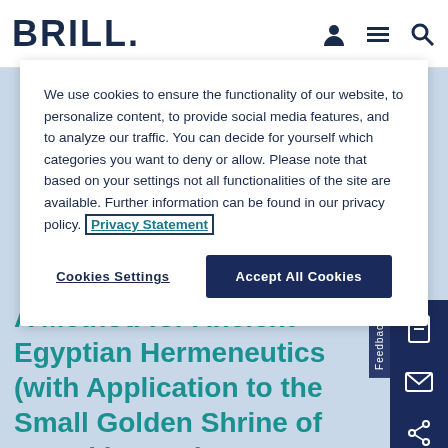BRILL
We use cookies to ensure the functionality of our website, to personalize content, to provide social media features, and to analyze our traffic. You can decide for yourself which categories you want to deny or allow. Please note that based on your settings not all functionalities of the site are available. Further information can be found in our privacy policy. Privacy Statement
Cookies Settings | Accept All Cookies
A Method for Ancient Egyptian Hermeneutics (with Application to the Small Golden Shrine of Tutankhamun)
Author: Valérie Angenot
or complex ideas. For instance, even though the ankh sign is motivated by a tro- pological transfer